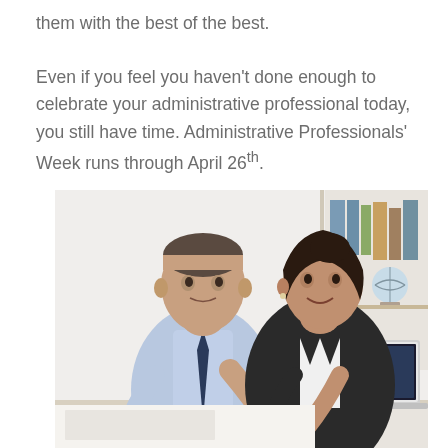them with the best of the best.

Even if you feel you haven't done enough to celebrate your administrative professional today, you still have time. Administrative Professionals' Week runs through April 26th.
[Figure (photo): A man in a light blue shirt and dark tie and a woman in a dark blazer looking at a smartphone together at a desk with a laptop, in an office setting with bookshelves in the background.]